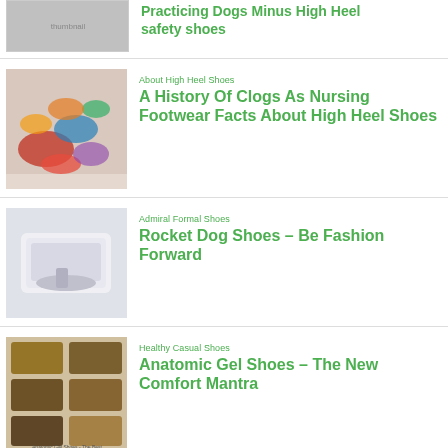[Figure (photo): Partial thumbnail of shoes article at top of page]
Practicing Dogs Minus High Heel safety shoes
[Figure (photo): Colorful high heel shoes piled together]
About High Heel Shoes
A History Of Clogs As Nursing Footwear Facts About High Heel Shoes
[Figure (photo): White formal shoes/feet photo]
Admiral Formal Shoes
Rocket Dog Shoes – Be Fashion Forward
[Figure (photo): Brown casual shoes collection]
Healthy Casual Shoes
Anatomic Gel Shoes – The New Comfort Mantra
[Figure (photo): Running shoes partial thumbnail at bottom]
Good Running Shoes